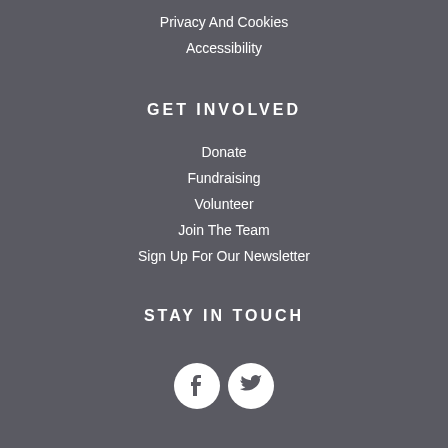Privacy And Cookies
Accessibility
GET INVOLVED
Donate
Fundraising
Volunteer
Join The Team
Sign Up For Our Newsletter
STAY IN TOUCH
[Figure (infographic): Two circular social media icons side by side: Facebook (f) and Twitter (bird icon), white circles on grey background]
YMCA DULVERTON GROUP